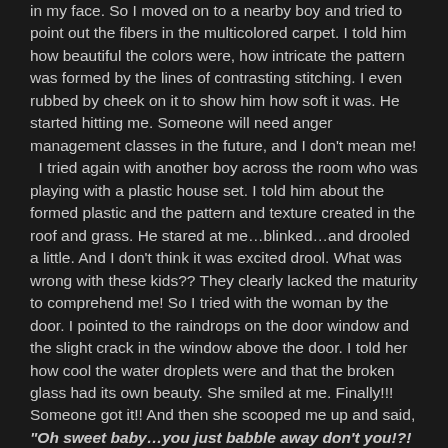in my face.  So I moved on to a nearby boy and tried to point out the fibers in the multicolored carpet.  I told him how beautiful the colors were, how intricate the pattern was formed by the lines of contrasting stitching.  I even rubbed by cheek on it to show him how soft it was.  He started hitting me.  Someone will need anger management classes in the future, and I don't mean me!  I tried again with another boy across the room who was playing with a plastic house set.  I told him about the formed plastic and the pattern and texture created in the roof and grass.  He stared at me…blinked…and drooled a little.  And I don't think it was excited drool.  What was wrong with these kids??  They clearly lacked the maturity to comprehend me!  So I tried with the woman by the door.  I pointed to the raindrops on the door window and the slight crack in the window above the door.  I told her how cool the water droplets were and that the broken glass had its own beauty.  She smiled at me.  Finally!!!  Someone got it!!  And then she scooped me up and said, "Oh sweet baby…you just babble away don't you!?!  You have so much to say, I wish I knew what it was!